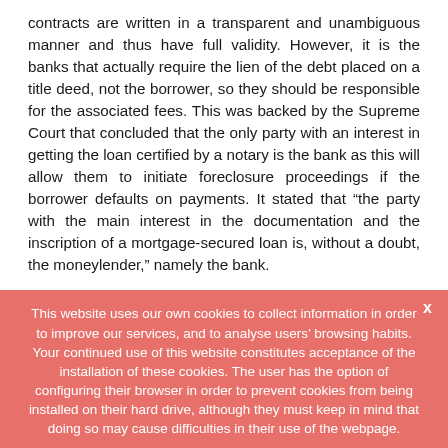contracts are written in a transparent and unambiguous manner and thus have full validity. However, it is the banks that actually require the lien of the debt placed on a title deed, not the borrower, so they should be responsible for the associated fees. This was backed by the Supreme Court that concluded that the only party with an interest in getting the loan certified by a notary is the bank as this will allow them to initiate foreclosure proceedings if the borrower defaults on payments. It stated that “the party with the main interest in the documentation and the inscription of a mortgage-secured loan is, without a doubt, the moneylender,” namely the bank.
This website uses our own cookies to collect information in order to improve our services, and to analyse users’ browsing habits. Your continued use of this website constitutes acceptance of the installation of these cookies. The user has the option of configuring their browser in order to prevent cookies from being installed on their hard drive, although they must keep in mind that doing so may cause difficulties in their use of the webpage.